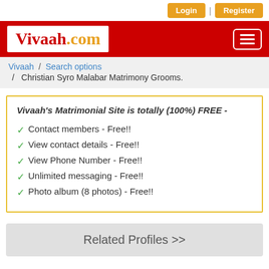Login | Register
[Figure (logo): Vivaah.com logo in red header bar with hamburger menu icon]
Vivaah / Search options / Christian Syro Malabar Matrimony Grooms.
Vivaah's Matrimonial Site is totally (100%) FREE -
✓ Contact members - Free!!
✓ View contact details - Free!!
✓ View Phone Number - Free!!
✓ Unlimited messaging - Free!!
✓ Photo album (8 photos) - Free!!
Related Profiles >>